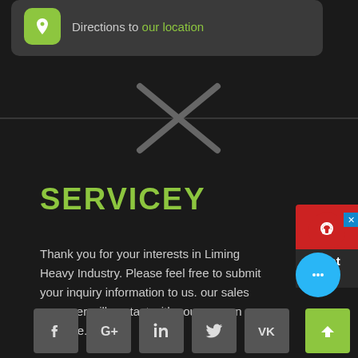Directions to our location
[Figure (illustration): Decorative X cross divider with horizontal line]
SERVICEY
Thank you for your interests in Liming Heavy Industry. Please feel free to submit your inquiry information to us. our sales manager will contact with you as soon as possible.
[Figure (infographic): Social media icons row: Facebook, Google+, LinkedIn, Twitter, VK]
[Figure (infographic): Chat Now widget on right side with headset icon]
[Figure (infographic): Blue chat bubble icon bottom right]
[Figure (infographic): Green back-to-top arrow button bottom right]